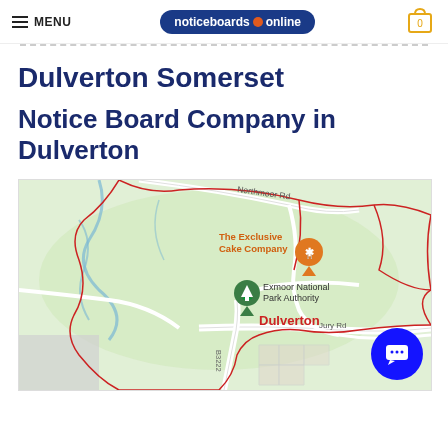MENU | noticeboards online | 0
Dulverton Somerset
Notice Board Company in Dulverton
[Figure (map): Google Maps view of Dulverton, Somerset showing Exmoor National Park Authority, The Exclusive Cake Company, Northmoor Rd, Jury Rd, B3222, and Dulverton label in red text. Red boundary lines mark the area. Blue river lines visible.]